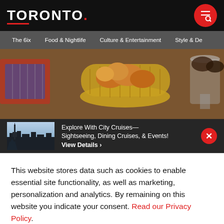TORONTO.
The 6ix  Food & Nightlife  Culture & Entertainment  Style & De
[Figure (photo): Basket of baked goods/pastries on a wooden table, with other food items visible]
Explore With City Cruises—Sightseeing, Dining Cruises, & Events! View Details ›
This website stores data such as cookies to enable essential site functionality, as well as marketing, personalization and analytics. By remaining on this website you indicate your consent. Read our Privacy Policy.
ACCEPT
residents who wanted to bring baked goods, bread